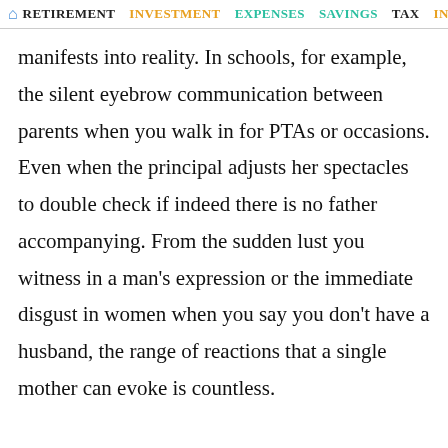RETIREMENT  INVESTMENT  EXPENSES  SAVINGS  TAX  INSURANCE
manifests into reality. In schools, for example, the silent eyebrow communication between parents when you walk in for PTAs or occasions. Even when the principal adjusts her spectacles to double check if indeed there is no father accompanying. From the sudden lust you witness in a man's expression or the immediate disgust in women when you say you don't have a husband, the range of reactions that a single mother can evoke is countless.

I didn't let this bother me. As someone said, 'It is their problem if they don't like you or find you